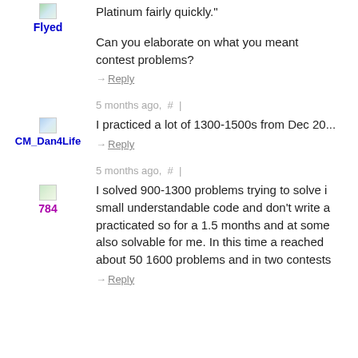Platinum fairly quickly."
Can you elaborate on what you meant contest problems?
→ Reply
5 months ago,  #  |
I practiced a lot of 1300-1500s from Dec 20...
→ Reply
5 months ago,  #  |
I solved 900-1300 problems trying to solve i small understandable code and don't write a practicated so for a 1.5 months and at some also solvable for me. In this time a reached about 50 1600 problems and in two contests
→ Reply